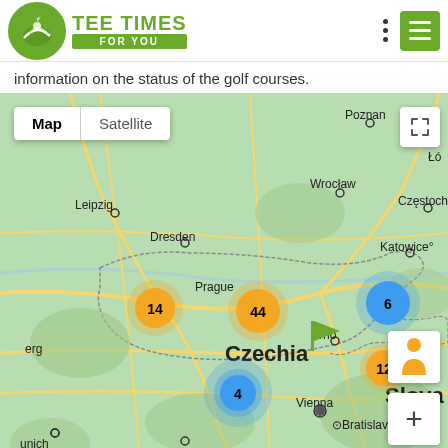[Figure (logo): Tee Times For You logo with green circular golf icon and green text]
information on the status of the golf courses.
[Figure (map): Google Maps view of Central Europe (Czech Republic region) showing clustered golf course markers: orange cluster of 14 (west Bohemia), orange cluster of 44 (Prague), blue cluster of 4 (south Bohemia), blue cluster of 6 (Silesia), orange cluster of 12 (south Moravia), a green flag pin near Prague. Cities labeled: Poznan, Wroclaw, Czestoch, Katowice, Leipzig, Dresden, Prague, Czechia, Brno, Vienna, Bratislav, Salzburg, Munich, Austria, Slovakia. Map/Satellite toggle and fullscreen, person, plus controls visible.]